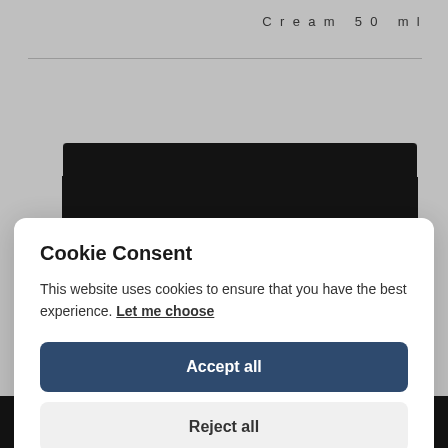Cream 50 ml
[Figure (photo): Partial view of a dark product box (OLIVOLIO brand) on a white background, partially obscured by a cookie consent modal overlay.]
Cookie Consent
This website uses cookies to ensure that you have the best experience. Let me choose
Accept all
Reject all